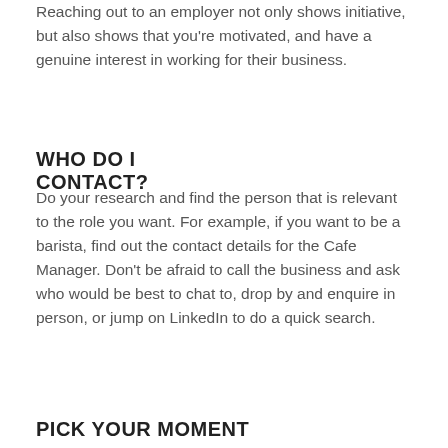Reaching out to an employer not only shows initiative, but also shows that you're motivated, and have a genuine interest in working for their business.
WHO DO I CONTACT?
Do your research and find the person that is relevant to the role you want. For example, if you want to be a barista, find out the contact details for the Cafe Manager. Don't be afraid to call the business and ask who would be best to chat to, drop by and enquire in person, or jump on LinkedIn to do a quick search.
PICK YOUR MOMENT